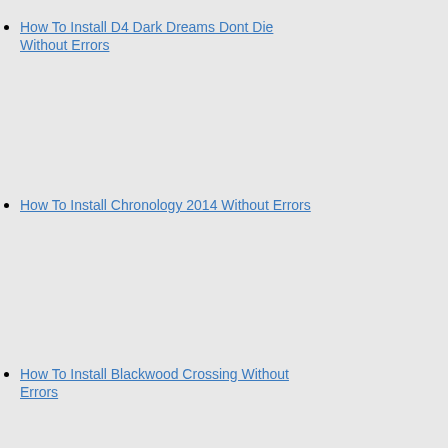How To Install D4 Dark Dreams Dont Die Without Errors
How To Install Chronology 2014 Without Errors
How To Install Blackwood Crossing Without Errors